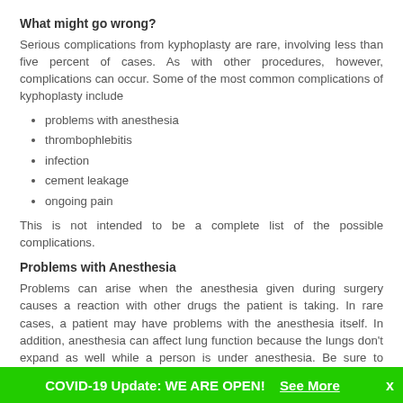What might go wrong?
Serious complications from kyphoplasty are rare, involving less than five percent of cases. As with other procedures, however, complications can occur. Some of the most common complications of kyphoplasty include
problems with anesthesia
thrombophlebitis
infection
cement leakage
ongoing pain
This is not intended to be a complete list of the possible complications.
Problems with Anesthesia
Problems can arise when the anesthesia given during surgery causes a reaction with other drugs the patient is taking. In rare cases, a patient may have problems with the anesthesia itself. In addition, anesthesia can affect lung function because the lungs don't expand as well while a person is under anesthesia. Be sure to discuss the risks and your concerns with your anesthesiologist.
Thrombophlebitis (Blood Clots)
Thrombophlebitis, sometimes called deep venous thrombosis (DVT),
COVID-19 Update: WE ARE OPEN! See More